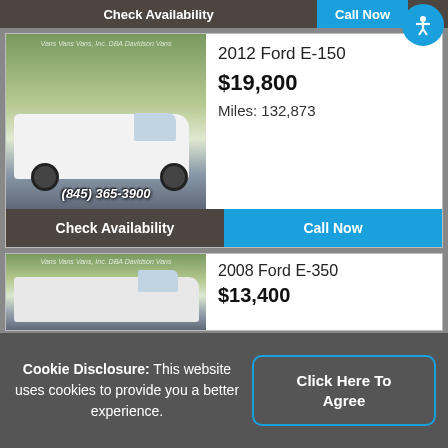Check Availability
Call Now
2012 Ford E-150
$19,800
Miles: 132,873
(845) 365-3900
Check Availability
Call Now
2008 Ford E-350
$13,400
Cookie Disclosure: This website uses cookies to provide you a better experience.
Click Here To Agree